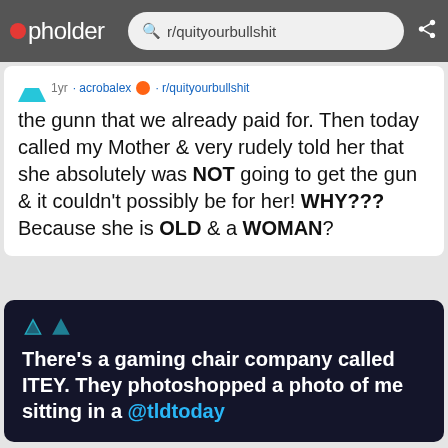pholder | r/quityourbullshit
the gunn that we already paid for. Then today called my Mother & very rudely told her that she absolutely was NOT going to get the gun & it couldn't possibly be for her! WHY??? Because she is OLD & a WOMAN?
There's a gaming chair company called ITEY. They photoshopped a photo of me sitting in a @tldtoday
YouTuber MKBHD calls out chair company, that photos... 2yr · tasoscon · r/quityourbullshit
Guy doesn't even know 1yr · Project_096 · r/quityc
Faking a wedding pic fo 2yr · wattapwn · r/quityour